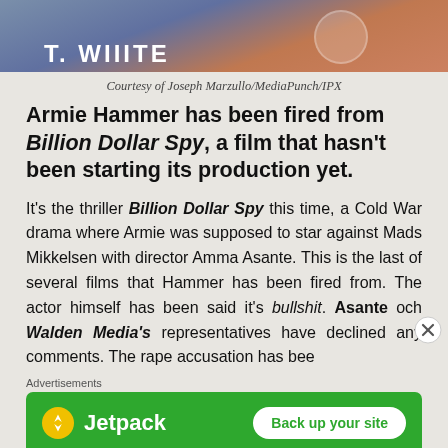[Figure (photo): Partial photo of a man in a suit against an orange/red background, with partial text 'T. WHITE' visible]
Courtesy of Joseph Marzullo/MediaPunch/IPX
Armie Hammer has been fired from Billion Dollar Spy, a film that hasn't been starting its production yet.
It's the thriller Billion Dollar Spy this time, a Cold War drama where Armie was supposed to star against Mads Mikkelsen with director Amma Asante. This is the last of several films that Hammer has been fired from. The actor himself has been said it's bullshit. Asante och Walden Media's representatives have declined any comments. The rape accusation has bee
Advertisements
[Figure (screenshot): Jetpack advertisement banner with green background, Jetpack logo and 'Back up your site' button]